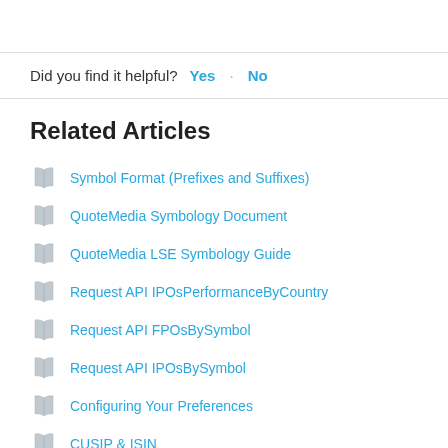Did you find it helpful?  Yes  No
Related Articles
Symbol Format (Prefixes and Suffixes)
QuoteMedia Symbology Document
QuoteMedia LSE Symbology Guide
Request API IPOsPerformanceByCountry
Request API FPOsBySymbol
Request API IPOsBySymbol
Configuring Your Preferences
CUSIP & ISIN
Request API FPOsByCountry
CBOE Global Indexes (Previously MDX Indices and CSMI Indices)